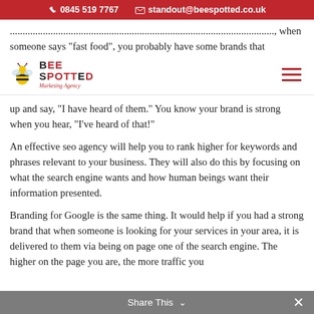0845 519 7767   standout@beespotted.co.uk
[Figure (logo): Bee Spotted marketing agency logo with bee icon and tagline]
...brands that up and say, "I have heard of them." You know your brand is strong when you hear, "I've heard of that!"
An effective seo agency will help you to rank higher for keywords and phrases relevant to your business. They will also do this by focusing on what the search engine wants and how human beings want their information presented.
Branding for Google is the same thing. It would help if you had a strong brand that when someone is looking for your services in your area, it is delivered to them via being on page one of the search engine. The higher on the page you are, the more traffic you
Share This